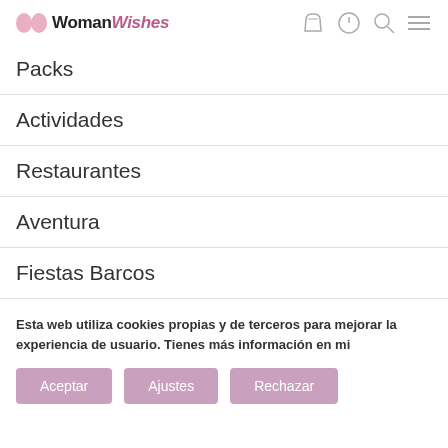[Figure (logo): WomanWishes logo with pink dots and brand name]
Packs
Actividades
Restaurantes
Aventura
Fiestas Barcos
Esta web utiliza cookies propias y de terceros para mejorar la experiencia de usuario. Tienes más información en mi
Aceptar  Ajustes  Rechazar